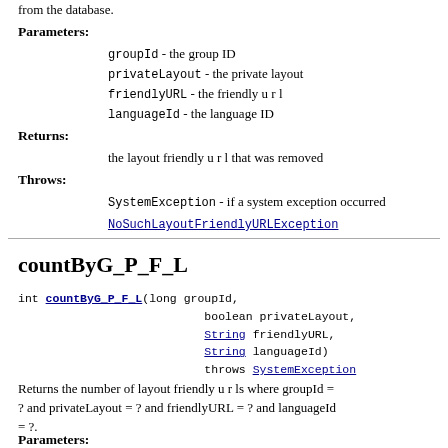from the database.
Parameters:
groupId - the group ID
privateLayout - the private layout
friendlyURL - the friendly u r l
languageId - the language ID
Returns:
the layout friendly u r l that was removed
Throws:
SystemException - if a system exception occurred
NoSuchLayoutFriendlyURLException
countByG_P_F_L
int countByG_P_F_L(long groupId, boolean privateLayout, String friendlyURL, String languageId) throws SystemException
Returns the number of layout friendly u r ls where groupId = ? and privateLayout = ? and friendlyURL = ? and languageId = ?.
Parameters: